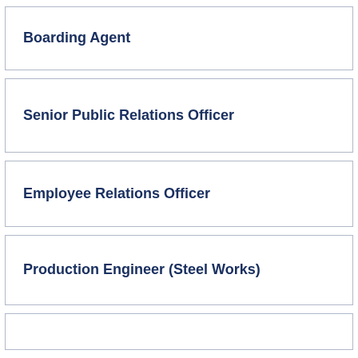Boarding Agent
Senior Public Relations Officer
Employee Relations Officer
Production Engineer (Steel Works)